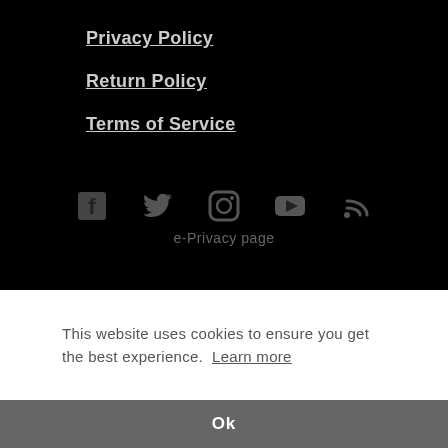Privacy Policy
Return Policy
Terms of Service
[Figure (infographic): Social media icons: Facebook, Twitter, Instagram, YouTube, RSS feed]
e-Privacy page
This website uses cookies to ensure you get the best experience. Learn more
Ok